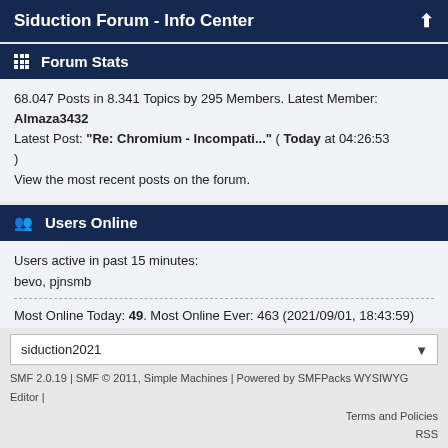Siduction Forum - Info Center
Forum Stats
68.047 Posts in 8.341 Topics by 295 Members. Latest Member: Almaza3432 Latest Post: "Re: Chromium - Incompati..." ( Today at 04:26:53 ) View the most recent posts on the forum.
Users Online
Users active in past 15 minutes:
bevo, pjnsmb
Most Online Today: 49. Most Online Ever: 463 (2021/09/01, 18:43:59)
SMF 2.0.19 | SMF © 2011, Simple Machines | Powered by SMFPacks WYSIWYG Editor | Terms and Policies RSS